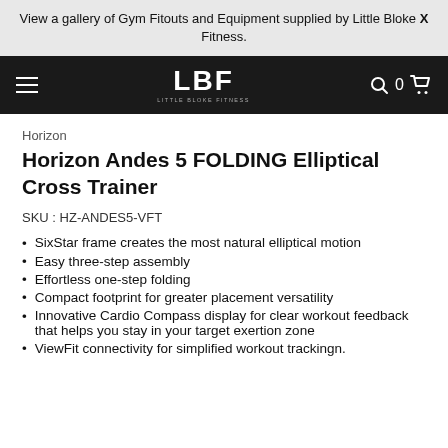View a gallery of Gym Fitouts and Equipment supplied by Little Bloke X Fitness.
[Figure (logo): Little Bloke Fitness navigation bar with hamburger menu, LBF logo, search icon, cart count 0, and cart icon on dark background]
Horizon
Horizon Andes 5 FOLDING Elliptical Cross Trainer
SKU : HZ-ANDES5-VFT
SixStar frame creates the most natural elliptical motion
Easy three-step assembly
Effortless one-step folding
Compact footprint for greater placement versatility
Innovative Cardio Compass display for clear workout feedback that helps you stay in your target exertion zone
ViewFit connectivity for simplified workout trackingn.